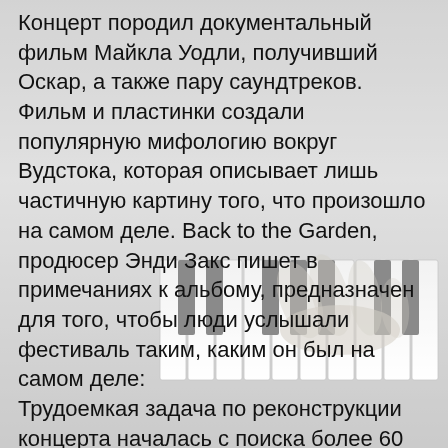[Figure (photo): Background photo of piano keys with hands playing, black and white / grayscale tone]
Концерт породил документальный фильм Майкла Уодли, получивший Оскар, а также пару саундтреков. Фильм и пластинки создали популярную мифологию вокруг Вудстока, которая описывает лишь частичную картину того, что произошло на самом деле. Back to the Garden, продюсер Энди Закс пишет в примечаниях к альбому, предназначен для того, чтобы люди услышали фестиваль таким, каким он был на самом деле:
Трудоемкая задача по реконструкции концерта началась с поиска более 60 многодорожечных бобин, записанных Эдди Крамером и Ли Осборном, а также около 100 бобин, записанных съемочной группой на сцене. При сортировке этих лент некоторые из них были отредактированы,